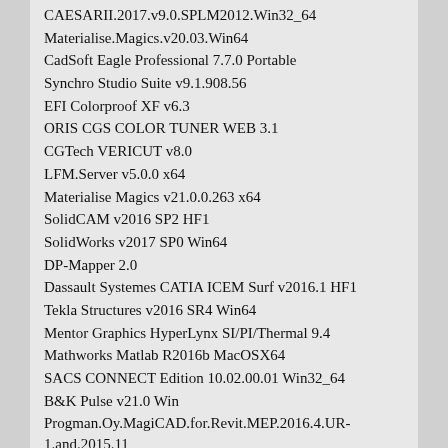CAESARII.2017.v9.0.SPLM2012.Win32_64
Materialise.Magics.v20.03.Win64
CadSoft Eagle Professional 7.7.0 Portable
Synchro Studio Suite v9.1.908.56
EFI Colorproof XF v6.3
ORIS CGS COLOR TUNER WEB 3.1
CGTech VERICUT v8.0
LFM.Server v5.0.0 x64
Materialise Magics v21.0.0.263 x64
SolidCAM v2016 SP2 HF1
SolidWorks v2017 SP0 Win64
DP-Mapper 2.0
Dassault Systemes CATIA ICEM Surf v2016.1 HF1
Tekla Structures v2016 SR4 Win64
Mentor Graphics HyperLynx SI/PI/Thermal 9.4
Mathworks Matlab R2016b MacOSX64
SACS CONNECT Edition 10.02.00.01 Win32_64
B&K Pulse v21.0 Win
Progman.Oy.MagiCAD.for.Revit.MEP.2016.4.UR-1.and.2015.11
Geometric NestingWorks 2016 SP2.0 for SolidWorks 2015-2016 Win64
SystemModeler v4.3
CMG v2020
whittle v4.7
LizardTech.GeoExpress.Unlimited.v9.5.3.4633.x86.x64
LizardTech.GeoViewer.Pro.v9.0.1.4213